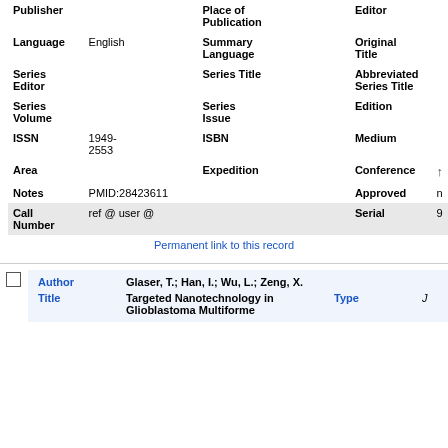| Field | Value | Field | Value | Field | Value |
| --- | --- | --- | --- | --- | --- |
| Publisher |  | Place of Publication |  | Editor |  |
| Language | English | Summary Language |  | Original Title |  |
| Series Editor |  | Series Title |  | Abbreviated Series Title |  |
| Series Volume |  | Series Issue |  | Edition |  |
| ISSN | 1949-2553 | ISBN |  | Medium |  |
| Area |  | Expedition |  | Conference | ↑ |
| Notes | PMID:28423611 |  |  | Approved | n |
| Call Number | ref @ user @ |  |  | Serial | 9 |
Permanent link to this record
|  | Author | Value | Type |  |
| --- | --- | --- | --- | --- |
|  | Glaser, T.; Han, I.; Wu, L.; Zeng, X. |  |  |  |
|  | Title | Targeted Nanotechnology in Glioblastoma Multiforme | Type | J |